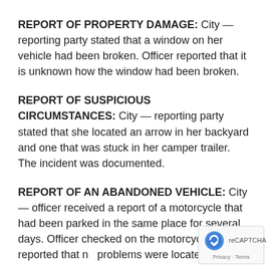REPORT OF PROPERTY DAMAGE: City — reporting party stated that a window on her vehicle had been broken. Officer reported that it is unknown how the window had been broken.
REPORT OF SUSPICIOUS CIRCUMSTANCES: City — reporting party stated that she located an arrow in her backyard and one that was stuck in her camper trailer. The incident was documented.
REPORT OF AN ABANDONED VEHICLE: City — officer received a report of a motorcycle that had been parked in the same place for several days. Officer checked on the motorcycle and reported that no problems were located.